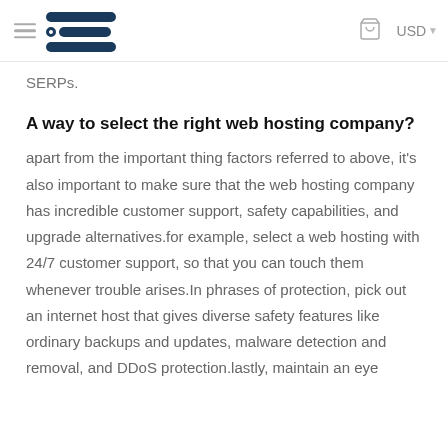USD
SERPs.
A way to select the right web hosting company?
apart from the important thing factors referred to above, it's also important to make sure that the web hosting company has incredible customer support, safety capabilities, and upgrade alternatives.for example, select a web hosting with 24/7 customer support, so that you can touch them whenever trouble arises.In phrases of protection, pick out an internet host that gives diverse safety features like ordinary backups and updates, malware detection and removal, and DDoS protection.lastly, maintain an eye